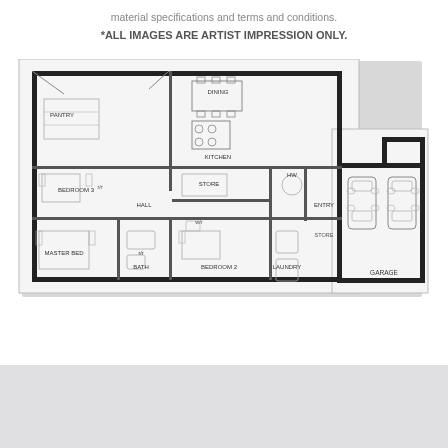material specifications and terms and conditions.
*ALL IMAGES ARE ARTIST IMPRESSION ONLY.
[Figure (engineering-diagram): House floor plan showing rooms: Pantry, Dining, Kitchen, Bedroom 3, Store, HW, Entry, Hall, Master Bed, Bath, Bedroom 2, Laundry, Garage, with two cars in garage. L-shaped layout.]